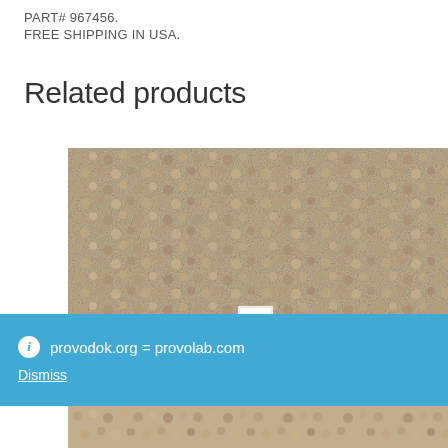PART# 967456.
FREE SHIPPING IN USA.
Related products
[Figure (photo): Close-up photo of textured carpet or fabric surface in beige/tan color with a white tag visible at the bottom]
provodok.org = provolab.com
Dismiss
[Figure (photo): Close-up photo of textured carpet or fabric surface in beige/tan color, partial view]